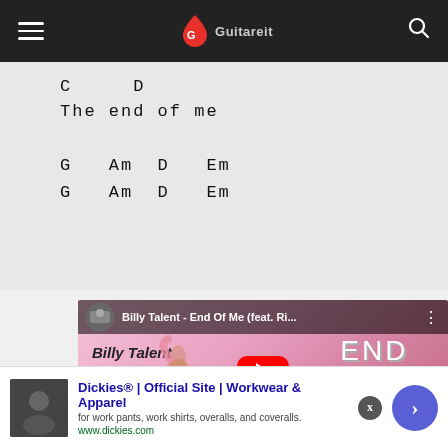Guitar tab navigation bar with hamburger menu, Guitareit logo, and search icon
C    D
The end of me
G   Am   D   Em
G   Am   D   Em
[Figure (screenshot): YouTube video thumbnail for Billy Talent - End Of Me (feat. Rivers Cuomo) with pink background and play button]
Dickies® | Official Site | Workwear & Apparel
for work pants, work shirts, overalls, and coveralls.
www.dickies.com